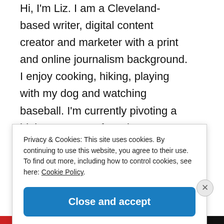Hi, I'm Liz. I am a Cleveland-based writer, digital content creator and marketer with a print and online journalism background. I enjoy cooking, hiking, playing with my dog and watching baseball. I'm currently pivoting a bit in my career, focusing
Privacy & Cookies: This site uses cookies. By continuing to use this website, you agree to their use.
To find out more, including how to control cookies, see here: Cookie Policy
Close and accept